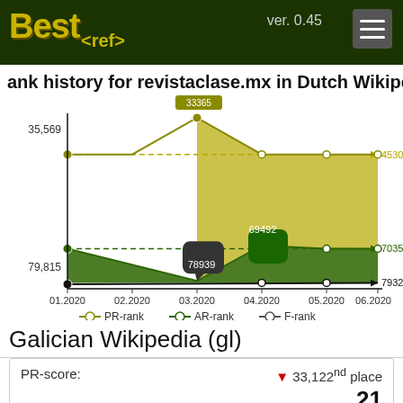Best<ref> ver. 0.45
ank history for revistaclase.mx in Dutch Wikipedia
[Figure (line-chart): Rank history for revistaclase.mx in Dutch Wikipedia]
Galician Wikipedia (gl)
| PR-score: | 33,122nd place | 21 |
| --- | --- | --- |